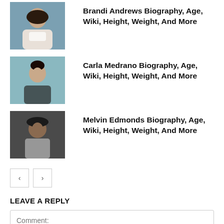[Figure (photo): Brandi Andrews - woman with long dark hair in white outfit near water]
Brandi Andrews Biography, Age, Wiki, Height, Weight, And More
[Figure (photo): Carla Medrano - woman with dark hair up, smiling outdoors]
Carla Medrano Biography, Age, Wiki, Height, Weight, And More
[Figure (photo): Melvin Edmonds - man wearing a hat, in a light jacket]
Melvin Edmonds Biography, Age, Wiki, Height, Weight, And More
LEAVE A REPLY
Comment: